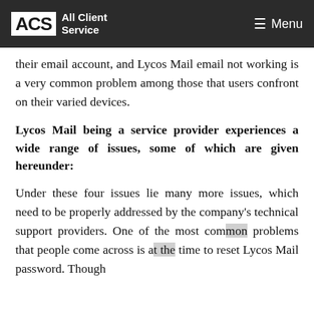ACS All Client Service | Menu
their email account, and Lycos Mail email not working is a very common problem among those that users confront on their varied devices.
Lycos Mail being a service provider experiences a wide range of issues, some of which are given hereunder:
Under these four issues lie many more issues, which need to be properly addressed by the company's technical support providers. One of the most common problems that people come across is at the time to reset Lycos Mail password. Though